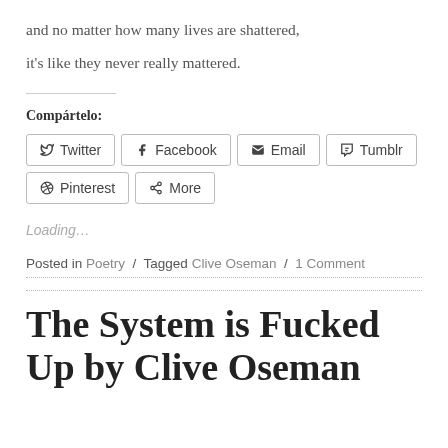and no matter how many lives are shattered,
it's like they never really mattered.
Compártelo:
Twitter  Facebook  Email  Tumblr  Pinterest  More
Loading...
Posted in Poetry / Tagged Clive Oseman / 1 Comment
The System is Fucked Up by Clive Oseman